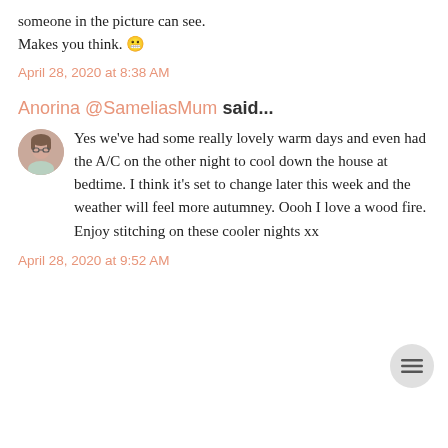someone in the picture can see. Makes you think. 😬
April 28, 2020 at 8:38 AM
Anorina @SameliasMum said...
Yes we've had some really lovely warm days and even had the A/C on the other night to cool down the house at bedtime. I think it's set to change later this week and the weather will feel more autumney. Oooh I love a wood fire. Enjoy stitching on these cooler nights xx
April 28, 2020 at 9:52 AM